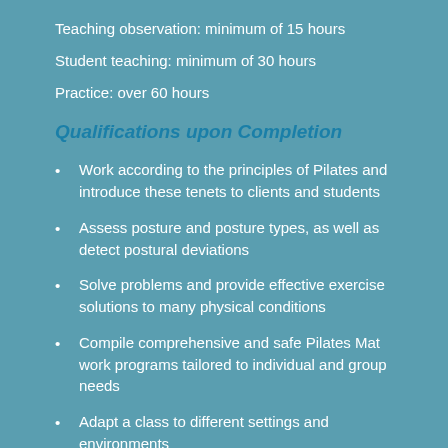Teaching observation: minimum of 15 hours
Student teaching: minimum of 30 hours
Practice: over 60 hours
Qualifications upon Completion
Work according to the principles of Pilates and introduce these tenets to clients and students
Assess posture and posture types, as well as detect postural deviations
Solve problems and provide effective exercise solutions to many physical conditions
Compile comprehensive and safe Pilates Mat work programs tailored to individual and group needs
Adapt a class to different settings and environments